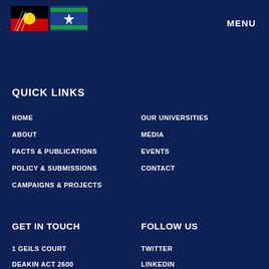[Figure (logo): Aboriginal flag (black top, red bottom, yellow circle) and Torres Strait Islander flag (blue with green stripes and white star) logos]
MENU
QUICK LINKS
HOME
ABOUT
FACTS & PUBLICATIONS
POLICY & SUBMISSIONS
CAMPAIGNS & PROJECTS
OUR UNIVERSITIES
MEDIA
EVENTS
CONTACT
GET IN TOUCH
FOLLOW US
1 GEILS COURT
DEAKIN ACT 2600
T: +61 2 6285 8100
TWITTER
LINKEDIN
FACEBOOK
INSTAGRAM